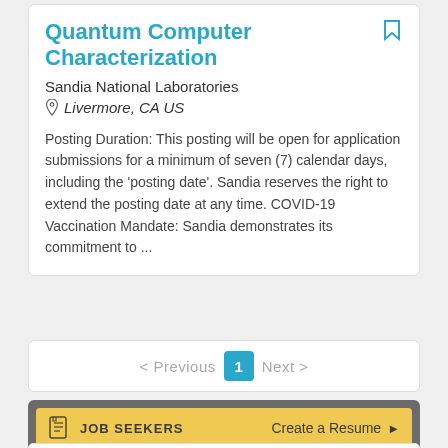Quantum Computer Characterization
Sandia National Laboratories
Livermore, CA US
Posting Duration: This posting will be open for application submissions for a minimum of seven (7) calendar days, including the 'posting date'. Sandia reserves the right to extend the posting date at any time. COVID-19 Vaccination Mandate: Sandia demonstrates its commitment to ...
< Previous  1  Next >
JOB SEEKERS   Create a Resume ▶